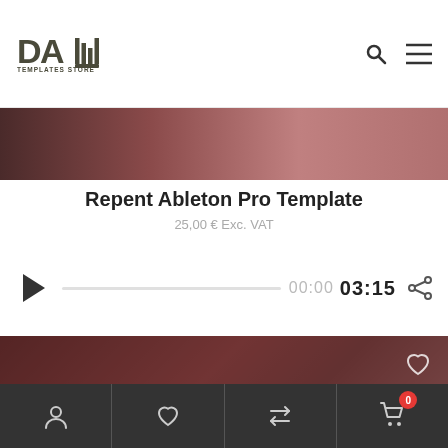[Figure (screenshot): DAW Templates Store website header with logo on left, search and hamburger menu icons on right]
[Figure (photo): Dark reddish-purple image strip at the top of the product page]
Repent Ableton Pro Template
25,00 € Exc. VAT
[Figure (other): Audio player with play button, progress bar, time display 00:00 / 03:15, and share icon]
[Figure (photo): Video thumbnail showing dark reddish scene with DAW TEMPLATES PRESENTS banner text, a blue circle icon, and a scroll-to-top dark button]
[Figure (other): Bottom navigation bar with account, wishlist, compare, and cart (0) icons on dark background]